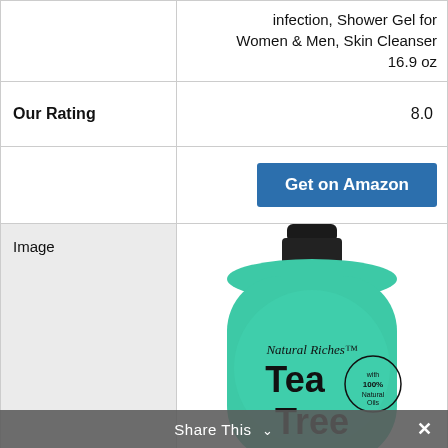infection, Shower Gel for Women & Men, Skin Cleanser 16.9 oz
| Our Rating | 8.0 |
| --- | --- |
Get on Amazon
Image
[Figure (photo): Natural Riches Tea Tree body wash bottle in teal/green color with black cap, labeled with 'Natural Riches Tea Tree with 100% Natural Oils']
Share This